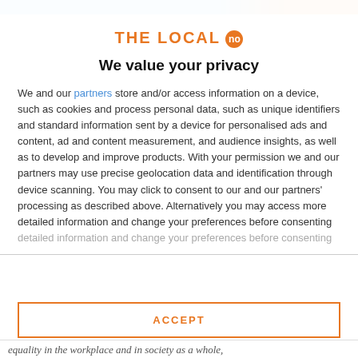[Figure (logo): THE LOCAL no logo — orange text with orange circle badge containing 'no']
We value your privacy
We and our partners store and/or access information on a device, such as cookies and process personal data, such as unique identifiers and standard information sent by a device for personalised ads and content, ad and content measurement, and audience insights, as well as to develop and improve products. With your permission we and our partners may use precise geolocation data and identification through device scanning. You may click to consent to our and our partners' processing as described above. Alternatively you may access more detailed information and change your preferences before consenting
ACCEPT
MORE OPTIONS
equality in the workplace and in society as a whole,